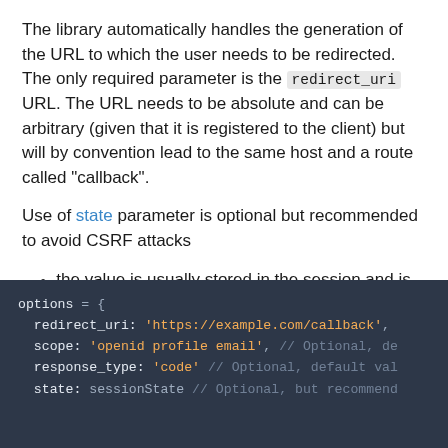The library automatically handles the generation of the URL to which the user needs to be redirected. The only required parameter is the redirect_uri URL. The URL needs to be absolute and can be arbitrary (given that it is registered to the client) but will by convention lead to the same host and a route called "callback".
Use of state parameter is optional but recommended to avoid CSRF attacks
the value is usually stored in the session and is also used with sso.authorization().callback() method when handling the callback request.
[Figure (screenshot): Code block showing JavaScript/Node.js options object with redirect_uri, scope, response_type, and state fields on a dark background.]